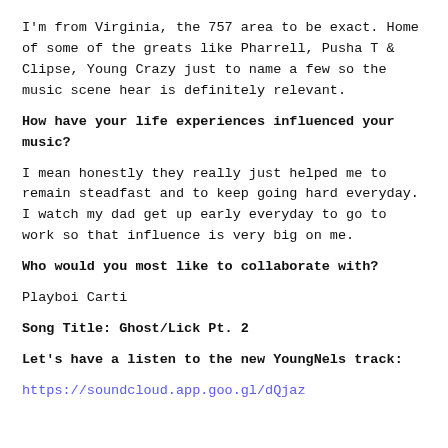I'm from Virginia, the 757 area to be exact. Home of some of the greats like Pharrell, Pusha T & Clipse, Young Crazy just to name a few so the music scene hear is definitely relevant.
How have your life experiences influenced your music?
I mean honestly they really just helped me to remain steadfast and to keep going hard everyday. I watch my dad get up early everyday to go to work so that influence is very big on me.
Who would you most like to collaborate with?
Playboi Carti
Song Title: Ghost/Lick Pt. 2
Let's have a listen to the new YoungNels track:
https://soundcloud.app.goo.gl/dQjaz